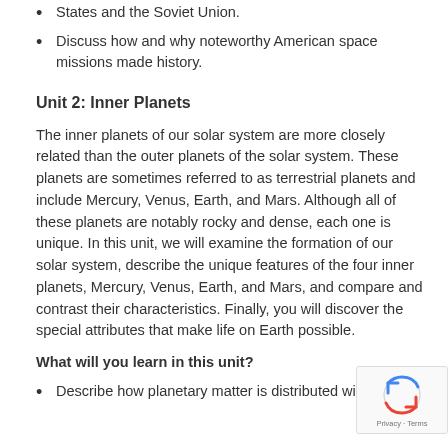States and the Soviet Union.
Discuss how and why noteworthy American space missions made history.
Unit 2: Inner Planets
The inner planets of our solar system are more closely related than the outer planets of the solar system. These planets are sometimes referred to as terrestrial planets and include Mercury, Venus, Earth, and Mars. Although all of these planets are notably rocky and dense, each one is unique. In this unit, we will examine the formation of our solar system, describe the unique features of the four inner planets, Mercury, Venus, Earth, and Mars, and compare and contrast their characteristics. Finally, you will discover the special attributes that make life on Earth possible.
What will you learn in this unit?
Describe how planetary matter is distributed within the